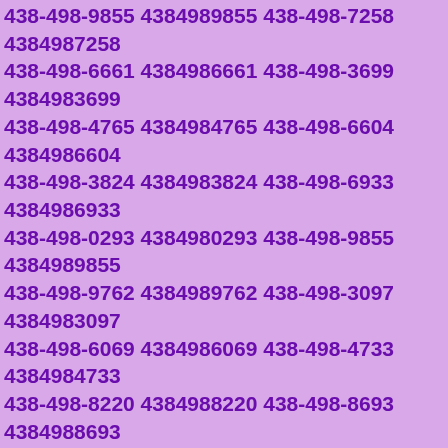438-498-9855 4384989855 438-498-7258 4384987258 438-498-6661 4384986661 438-498-3699 4384983699 438-498-4765 4384984765 438-498-6604 4384986604 438-498-3824 4384983824 438-498-6933 4384986933 438-498-0293 4384980293 438-498-9855 4384989855 438-498-9762 4384989762 438-498-3097 4384983097 438-498-6069 4384986069 438-498-4733 4384984733 438-498-8220 4384988220 438-498-8693 4384988693 438-498-8482 4384988482 438-498-5712 4384985712 438-498-2176 4384982176 438-498-3716 4384983716 438-498-2012 4384982012 438-498-2402 4384982402 438-498-1561 4384981561 438-498-8597 4384988597 438-498-7905 4384987905 438-498-6867 4384986867 438-498-9358 4384989358 438-498-5055 4384985055 438-498-5693 4384985693 438-498-8260 4384988260 438-498-0791 4384980791 438-498-2632 4384982632 438-498-0580 4384980580 438-498-5711 4384985711 438-498-7306 4384987306 438-498-3984 4384983984 438-498-1888 4384981888 438-498-7551 4384987551 438-498-1266 4384981266 438-498-3887 4384983887 438-498-6598 4384986598 438-498-0372 4384980372